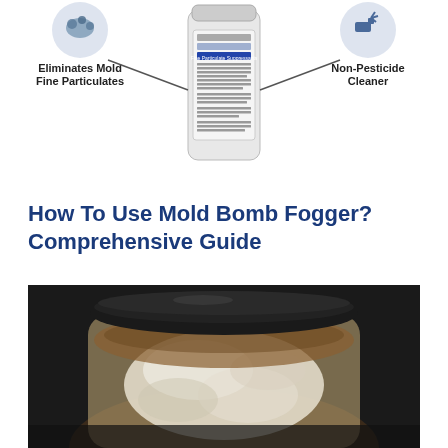[Figure (infographic): Product diagram of a Mold Bomb Fogger spray can with callout labels: 'Eliminates Mold Fine Particulates' on the left with an icon, 'Non-Pesticide Cleaner' on the right with a spray icon, and the product can in the center with label text visible.]
How To Use Mold Bomb Fogger? Comprehensive Guide
[Figure (photo): Close-up photograph of a jar or container heavily covered with white and brown mold growth, with a black lid visible at the top, on a dark background.]